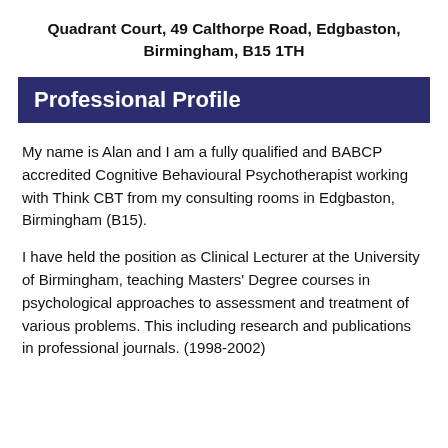Quadrant Court, 49 Calthorpe Road, Edgbaston, Birmingham, B15 1TH
Professional Profile
My name is Alan and I am a fully qualified and BABCP accredited Cognitive Behavioural Psychotherapist working with Think CBT from my consulting rooms in Edgbaston, Birmingham (B15).
I have held the position as Clinical Lecturer at the University of Birmingham, teaching Masters' Degree courses in psychological approaches to assessment and treatment of various problems. This including research and publications in professional journals. (1998-2002)